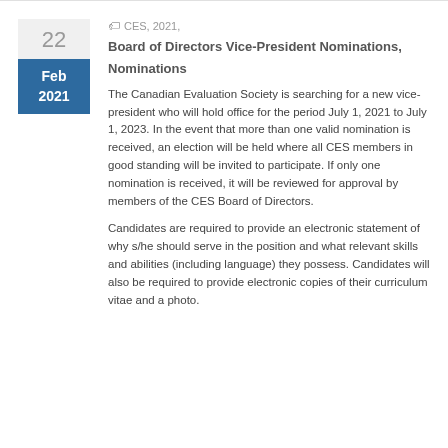CES, 2021, Board of Directors Vice-President Nominations, Nominations
The Canadian Evaluation Society is searching for a new vice-president who will hold office for the period July 1, 2021 to July 1, 2023. In the event that more than one valid nomination is received, an election will be held where all CES members in good standing will be invited to participate. If only one nomination is received, it will be reviewed for approval by members of the CES Board of Directors.
Candidates are required to provide an electronic statement of why s/he should serve in the position and what relevant skills and abilities (including language) they possess. Candidates will also be required to provide electronic copies of their curriculum vitae and a photo.